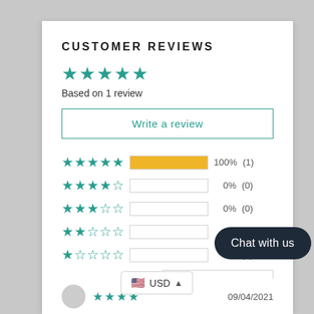CUSTOMER REVIEWS
[Figure (other): 5 teal filled stars representing overall rating]
Based on 1 review
Write a review
| Stars | Bar | Percentage | Count |
| --- | --- | --- | --- |
| 5 stars | 100% filled | 100% | (1) |
| 4 stars | 0% filled | 0% | (0) |
| 3 stars | 0% filled | 0% | (0) |
| 2 stars | 0% filled | 0% | (0) |
| 1 star | 0% filled | 0% | (0) |
Most R...
Chat with us
USD
09/04/2021